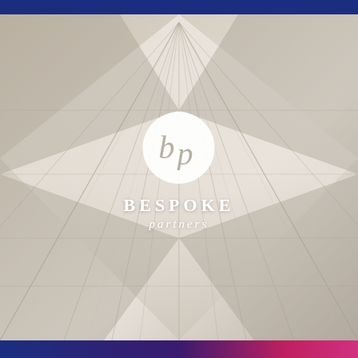[Figure (logo): Bespoke Partners logo on architectural glass ceiling background. White circle with stylized 'bp' monogram in serif italic font. Below the circle: 'BESPOKE' in bold uppercase serif letters and 'partners' in italic serif below that. Background is a warm grey architectural photo of a glass ceiling with geometric diamond patterns.]